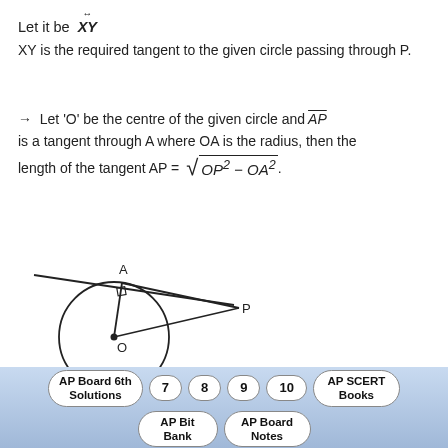Let it be XY (with double-headed arrow over XY)
XY is the required tangent to the given circle passing through P.
→ Let 'O' be the centre of the given circle and AP (overlined) is a tangent through A where OA is the radius, then the length of the tangent AP = √(OP² − OA²).
[Figure (illustration): Geometric diagram showing a circle with centre O, point A on the circle at top, tangent line through A extending to point P outside the circle, with a right angle mark at A and lines from O to A and O to P. A tangent line XY passes through A.]
APBoardSolutions.com
AP Board 6th Solutions | 7 | 8 | 9 | 10 | AP SCERT Books | AP Bit Bank | AP Board Notes